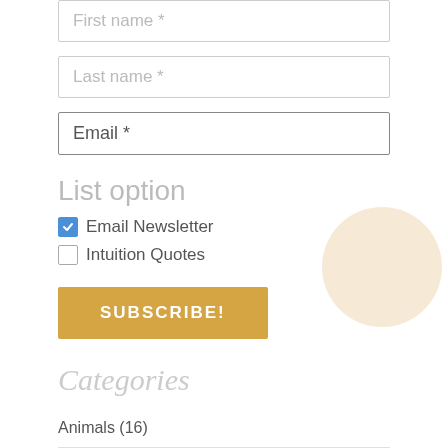First name *
Last name *
Email *
List option
Email Newsletter
Intuition Quotes
SUBSCRIBE!
Categories
Animals (16)
Blog (423)